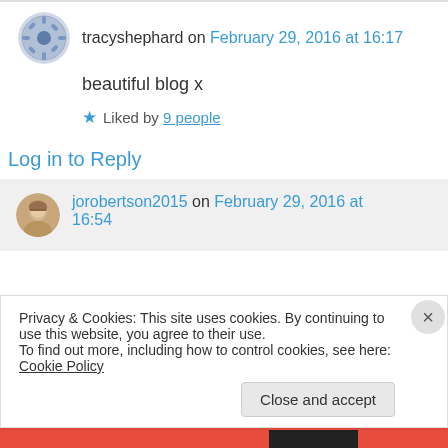tracyshephard on February 29, 2016 at 16:17
beautiful blog x
Liked by 9 people
Log in to Reply
jorobertson2015 on February 29, 2016 at 16:54
Privacy & Cookies: This site uses cookies. By continuing to use this website, you agree to their use. To find out more, including how to control cookies, see here: Cookie Policy
Close and accept